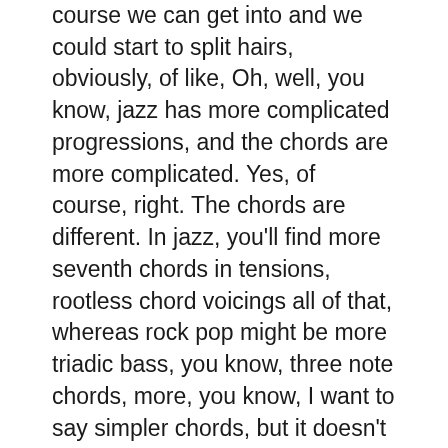course we can get into and we could start to split hairs, obviously, of like, Oh, well, you know, jazz has more complicated progressions, and the chords are more complicated. Yes, of course, right. The chords are different. In jazz, you'll find more seventh chords in tensions, rootless chord voicings all of that, whereas rock pop might be more triadic bass, you know, three note chords, more, you know, I want to say simpler chords, but it doesn't necessarily mean that they're, they're always going to be simple. The point is that the chords are going to usually be played a little bit different. But the real crux of it, if we really boil it down to its most basic difference between, say rock, and blues, and jazz and Latin is really, that drum style, it's really that beat. It's really the underlying swing versus straight. Okay, so if I were to change this to say, a rock pattern, it's gonna sound something like this, right?
Now, these chords that I'm playing in the left hand, yeah,